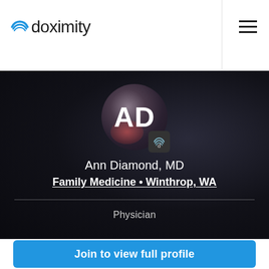doximity
[Figure (screenshot): Doximity physician profile page for Ann Diamond, MD. Dark banner background with avatar showing initials AD and a Doximity badge icon. Name, specialty (Family Medicine • Winthrop, WA), and role (Physician) displayed in white text.]
Ann Diamond, MD
Family Medicine • Winthrop, WA
Physician
Join to view full profile